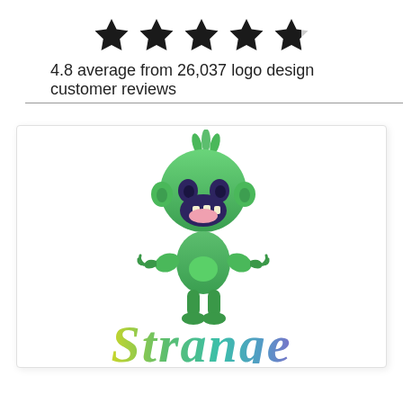[Figure (illustration): Five black star rating icons arranged in a horizontal row, with the fifth star appearing slightly faded/outlined to indicate partial rating]
4.8 average from 26,037 logo design customer reviews
[Figure (logo): A cute green cartoon monster character mascot with spiky hair, big eyes, open mouth showing teeth, and clawed hands, above the word 'Strange' written in a colorful gradient script font going from yellow-green to teal to purple]